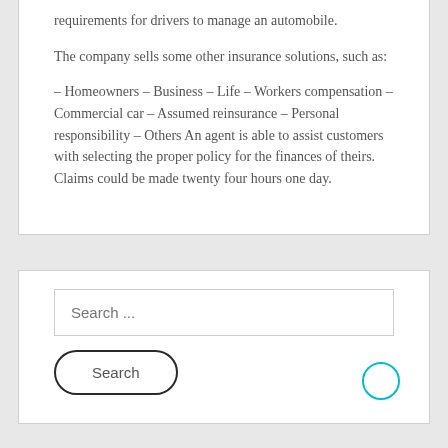requirements for drivers to manage an automobile.
The company sells some other insurance solutions, such as:
– Homeowners – Business – Life – Workers compensation – Commercial car – Assumed reinsurance – Personal responsibility – Others An agent is able to assist customers with selecting the proper policy for the finances of theirs. Claims could be made twenty four hours one day.
Search ...